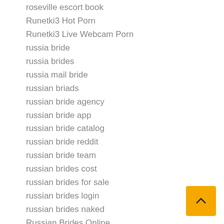roseville escort book
Runetki3 Hot Porn
Runetki3 Live Webcam Porn
russia bride
russia brides
russia mail bride
russian briads
russian bride agency
russian bride app
russian bride catalog
russian bride reddit
russian bride team
russian brides cost
russian brides for sale
russian brides login
russian brides naked
Russian Brides Online
russian brides photos
russian brides pictures
russian brides real